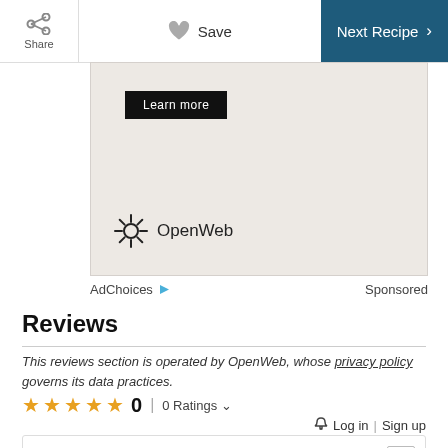Share | Save | Next Recipe
[Figure (other): Advertisement box with 'Learn more' button and OpenWeb logo on beige background]
AdChoices ▷   Sponsored
Reviews
This reviews section is operated by OpenWeb, whose privacy policy governs its data practices.
☆☆☆☆☆ 0   |   0 Ratings ∨
🔔 Log in | Sign up
Be the first to Review...   GIF